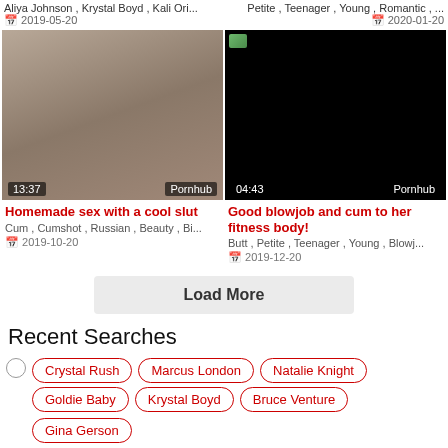Aliya Johnson , Krystal Boyd , Kali Ori...
Petite , Teenager , Young , Romantic , ...
📅 2019-05-20
📅 2020-01-20
[Figure (photo): Video thumbnail showing a person, duration 13:37, source Pornhub]
[Figure (photo): Black video thumbnail, duration 04:43, source Pornhub]
Homemade sex with a cool slut
Good blowjob and cum to her fitness body!
Cum , Cumshot , Russian , Beauty , Bi...
Butt , Petite , Teenager , Young , Blowj...
📅 2019-10-20
📅 2019-12-20
Load More
Recent Searches
Crystal Rush
Marcus London
Natalie Knight
Goldie Baby
Krystal Boyd
Bruce Venture
Gina Gerson